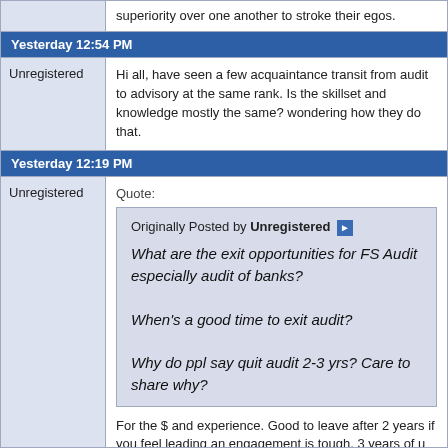superiority over one another to stroke their egos.
Yesterday 12:54 PM
Unregistered — Hi all, have seen a few acquaintance transit from audit to advisory at the same rank. Is the skillset and knowledge mostly the same? wondering how they do that.
Yesterday 12:19 PM
Quote: Originally Posted by Unregistered — What are the exit opportunities for FS Audit especially audit of banks? When's a good time to exit audit? Why do ppl say quit audit 2-3 yrs? Care to share why?
For the $ and experience. Good to leave after 2 years if you feel leading an engagement is tough. 3 years of u wanna expose some leadership experience.